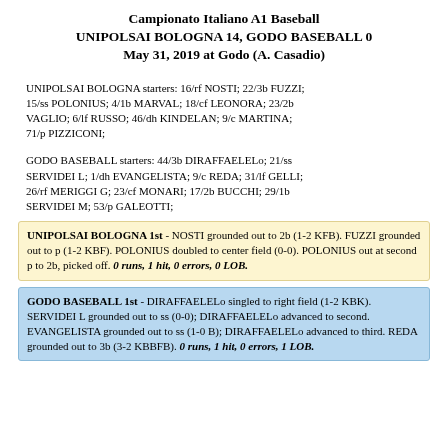Campionato Italiano A1 Baseball
UNIPOLSAI BOLOGNA 14, GODO BASEBALL 0
May 31, 2019 at Godo (A. Casadio)
UNIPOLSAI BOLOGNA starters: 16/rf NOSTI; 22/3b FUZZI; 15/ss POLONIUS; 4/1b MARVAL; 18/cf LEONORA; 23/2b VAGLIO; 6/lf RUSSO; 46/dh KINDELAN; 9/c MARTINA; 71/p PIZZICONI;
GODO BASEBALL starters: 44/3b DIRAFFAELELo; 21/ss SERVIDEI L; 1/dh EVANGELISTA; 9/c REDA; 31/lf GELLI; 26/rf MERIGGI G; 23/cf MONARI; 17/2b BUCCHI; 29/1b SERVIDEI M; 53/p GALEOTTI;
UNIPOLSAI BOLOGNA 1st - NOSTI grounded out to 2b (1-2 KFB). FUZZI grounded out to p (1-2 KBF). POLONIUS doubled to center field (0-0). POLONIUS out at second p to 2b, picked off. 0 runs, 1 hit, 0 errors, 0 LOB.
GODO BASEBALL 1st - DIRAFFAELELo singled to right field (1-2 KBK). SERVIDEI L grounded out to ss (0-0); DIRAFFAELELo advanced to second. EVANGELISTA grounded out to ss (1-0 B); DIRAFFAELELo advanced to third. REDA grounded out to 3b (3-2 KBBFB). 0 runs, 1 hit, 0 errors, 1 LOB.